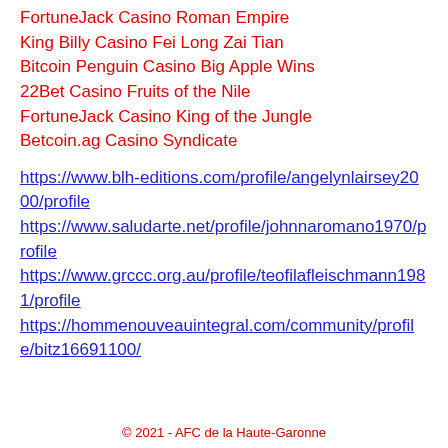FortuneJack Casino Roman Empire
King Billy Casino Fei Long Zai Tian
Bitcoin Penguin Casino Big Apple Wins
22Bet Casino Fruits of the Nile
FortuneJack Casino King of the Jungle
Betcoin.ag Casino Syndicate
https://www.blh-editions.com/profile/angelynlairsey2000/profile https://www.saludarte.net/profile/johnnaromano1970/profile https://www.grccc.org.au/profile/teofilafleischmann1981/profile https://hommenouveauintegral.com/community/profile/bitz16691100/
© 2021 - AFC de la Haute-Garonne